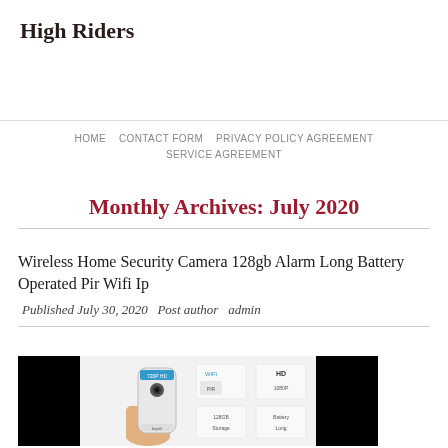High Riders
HOME   CONTACT FORM   PRIVACY POLICY AGREEMENT   SERVICE AGREEMENT
Monthly Archives: July 2020
Wireless Home Security Camera 128gb Alarm Long Battery Operated Pir Wifi Ip
Published July 30, 2020   Post author  admin
[Figure (photo): Product image of a wireless home security camera with black panels on left and right sides, showing the camera device held in a hand and a feature spec grid]